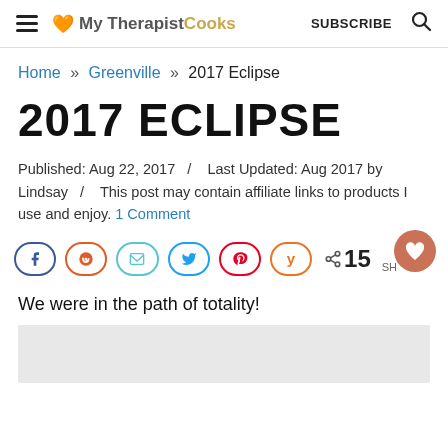My Therapist Cooks  SUBSCRIBE
Home » Greenville » 2017 Eclipse
2017 ECLIPSE
Published: Aug 22, 2017  /   Last Updated: Aug 2017 by Lindsay  /   This post may contain affiliate links to products I use and enjoy. 1 Comment
[Figure (infographic): Social share buttons: Facebook, Reddit, Email, Twitter, Pinterest, Yummly, plus share count of 15 SH, and a save/heart button]
We were in the path of totality!
[Figure (photo): Gray placeholder image area at bottom of page]